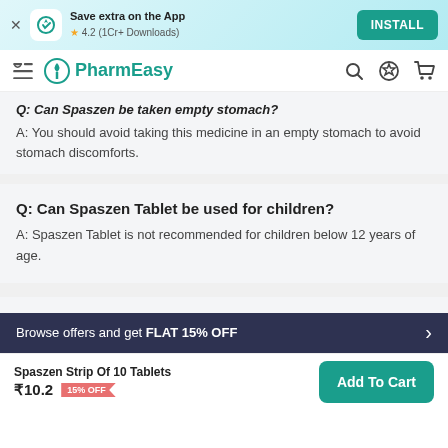[Figure (screenshot): App install banner with PharmEasy logo, rating 4.2 (1Cr+ Downloads), and INSTALL button]
[Figure (screenshot): PharmEasy navigation bar with logo, search, offers, and cart icons]
Q: Can Spaszen be taken empty stomach?
A: You should avoid taking this medicine in an empty stomach to avoid stomach discomforts.
Q: Can Spaszen Tablet be used for children?
A: Spaszen Tablet is not recommended for children below 12 years of age.
Browse offers and get FLAT 15% OFF
Spaszen Strip Of 10 Tablets ₹10.2 15% OFF
Add To Cart